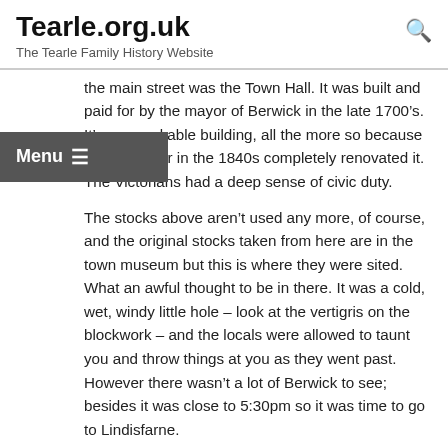Tearle.org.uk
The Tearle Family History Website
the main street was the Town Hall. It was built and paid for by the mayor of Berwick in the late 1700’s. It’s a remarkable building, all the more so because a later mayor in the 1840s completely renovated it. The Victorians had a deep sense of civic duty.
The stocks above aren’t used any more, of course, and the original stocks taken from here are in the town museum but this is where they were sited. What an awful thought to be in there. It was a cold, wet, windy little hole – look at the vertigris on the blockwork – and the locals were allowed to taunt you and throw things at you as they went past. However there wasn’t a lot of Berwick to see; besides it was close to 5:30pm so it was time to go to Lindisfarne.
It was a short drive out of town along the A1 and then down the narrow road to the Lindisfarne causeway, this time fully exposed all the way to the island and completely